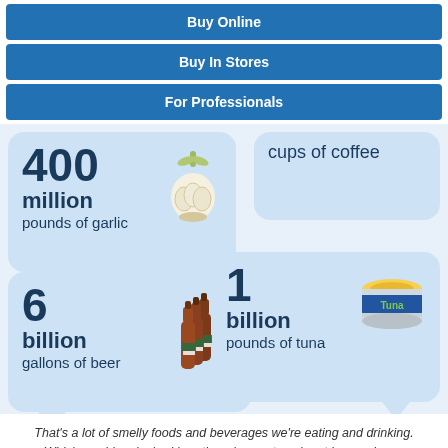Buy Online
Buy In Stores
For Professionals
[Figure (infographic): Infographic bubbles showing: 400 million pounds of garlic (with garlic icon), cups of coffee (partial, top right), 6 billion gallons of beer (with beer bottles icon), 1 billion pounds of tuna (with tuna can icon)]
That's a lot of smelly foods and beverages we're eating and drinking. Which would make bad breath an issue at work - at home - in our social life - or in our love life.